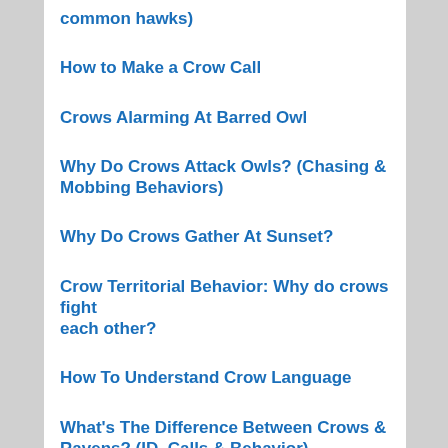common hawks)
How to Make a Crow Call
Crows Alarming At Barred Owl
Why Do Crows Attack Owls? (Chasing & Mobbing Behaviors)
Why Do Crows Gather At Sunset?
Crow Territorial Behavior: Why do crows fight each other?
How To Understand Crow Language
What's The Difference Between Crows & Ravens? (ID, Calls & Behavior)